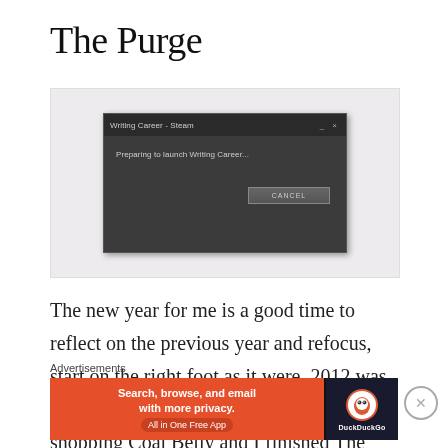The Purge
[Figure (screenshot): Steam dialog box titled 'Writing Career - Steam' with message 'Preparing to launch Writing Career...' and a CANCEL button, on a light gray background.]
The new year for me is a good time to reflect on the previous year and refocus, start on the right foot as it were. 2012 was great, I hit a few milestones, I began shopping Coal Belly and I finished The Stars Were Right. Not bad, but it's
Advertisements
[Figure (screenshot): DuckDuckGo advertisement banner: orange background on left with text 'Search, browse, and email with more privacy. All in One Free App', dark right panel with DuckDuckGo logo and text 'DuckDuckGo'.]